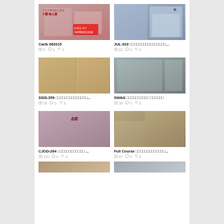[Figure (photo): Thumbnail image for Carib 062015]
Carib 062015
8  0  0
[Figure (photo): Thumbnail image for JUL-910]
JUL-910 □□□□□□□□□□□□□□□□...
63  0  0
[Figure (photo): Thumbnail image for SSIS-359]
SSIS-359 □□□□□□□□□□□□□□...
55  0  0
[Figure (photo): Thumbnail image for SWAG]
SWAG □□□□□□□□□□ □□□□□□
38  0  0
[Figure (photo): Thumbnail image for CJOD-264]
CJOD-264 □□□□□□□□□□□□ ...
165  0  0
[Figure (photo): Thumbnail image for Full Course]
Full Course □□□□□□□□□□□□□...
67  0  0